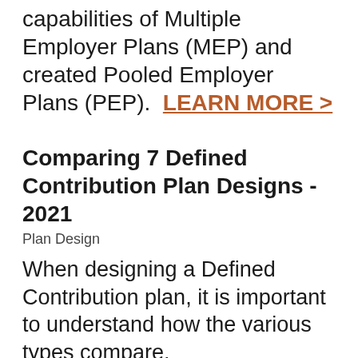capabilities of Multiple Employer Plans (MEP) and created Pooled Employer Plans (PEP). LEARN MORE >
Comparing 7 Defined Contribution Plan Designs - 2021
Plan Design
When designing a Defined Contribution plan, it is important to understand how the various types compare. LEARN MORE >
Take Advantage of Cycle 3